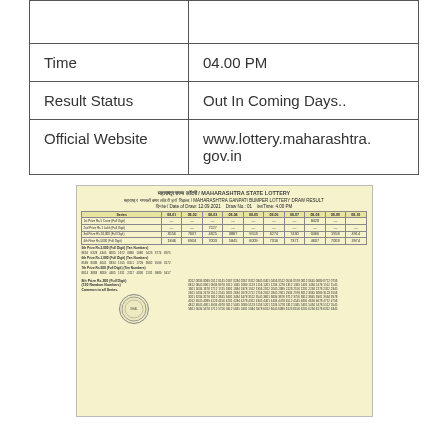|  |  |
| --- | --- |
|  |  |
| Time | 04.00 PM |
| Result Status | Out In Coming Days.. |
| Official Website | www.lottery.maharashtra.gov.in |
[Figure (photo): Scanned image of Maharashtra State Lottery draw result sheet with lottery numbers, prize details, and an official seal on a yellowish background.]